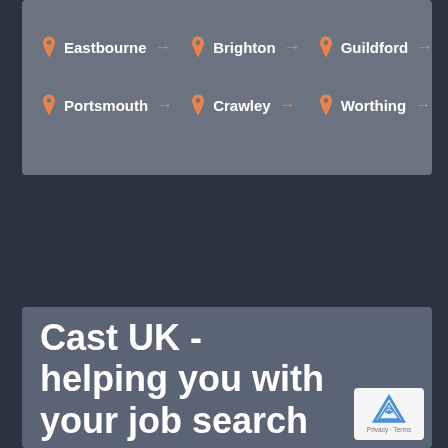Eastbourne →
Brighton →
Guildford →
Portsmouth →
Crawley →
Worthing →
Cast UK - helping you with your job search